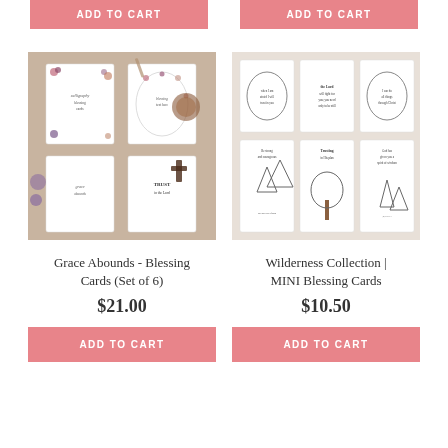ADD TO CART
ADD TO CART
[Figure (photo): Six blessing cards with floral calligraphy designs laid on a wooden surface with craft supplies]
[Figure (photo): Six wilderness-themed mini blessing cards with illustrated black and white nature scenes]
Grace Abounds - Blessing Cards (Set of 6)
Wilderness Collection | MINI Blessing Cards
$21.00
$10.50
ADD TO CART
ADD TO CART